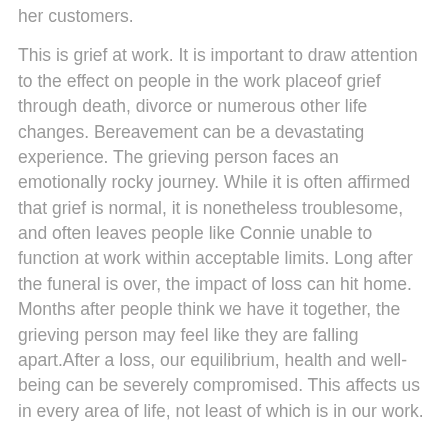her customers.
This is grief at work. It is important to draw attention to the effect on people in the work place of grief through death, divorce or numerous other life changes. Bereavement can be a devastating experience. The grieving person faces an emotionally rocky journey. While it is often affirmed that grief is normal, it is nonetheless troublesome, and often leaves people like Connie unable to function at work within acceptable limits. Long after the funeral is over, the impact of loss can hit home. Months after people think we have it together, the grieving person may feel like they are falling apart. After a loss, our equilibrium, health and well-being can be severely compromised. This affects us in every area of life, not least of which is in our work.